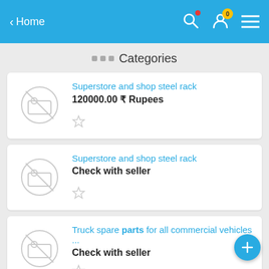< Home
... Categories
[Figure (screenshot): Product card 1: image placeholder with no-image icon, title 'Superstore and shop steel rack', price '120000.00 ₹ Rupees', star rating empty]
Superstore and shop steel rack
120000.00 ₹ Rupees
[Figure (screenshot): Product card 2: image placeholder with no-image icon, title 'Superstore and shop steel rack', price 'Check with seller', star rating empty]
Superstore and shop steel rack
Check with seller
[Figure (screenshot): Product card 3 (partial): image placeholder with no-image icon, title 'Truck spare parts for all commercial vehicles ...', price 'Check with seller', star rating empty]
Truck spare parts for all commercial vehicles ...
Check with seller